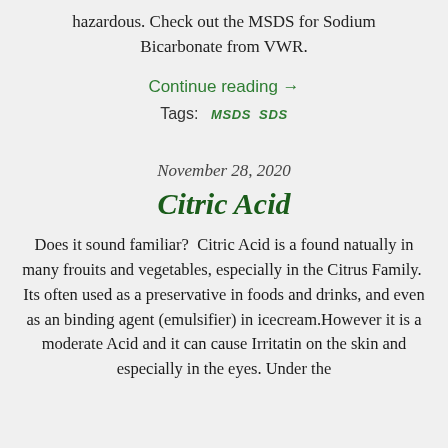hazardous. Check out the MSDS for Sodium Bicarbonate from VWR.
Continue reading →
Tags:  MSDS  SDS
November 28, 2020
Citric Acid
Does it sound familiar?  Citric Acid is a found natually in many frouits and vegetables, especially in the Citrus Family.  Its often used as a preservative in foods and drinks, and even as an binding agent (emulsifier) in icecream.However it is a moderate Acid and it can cause Irritatin on the skin and especially in the eyes. Under the